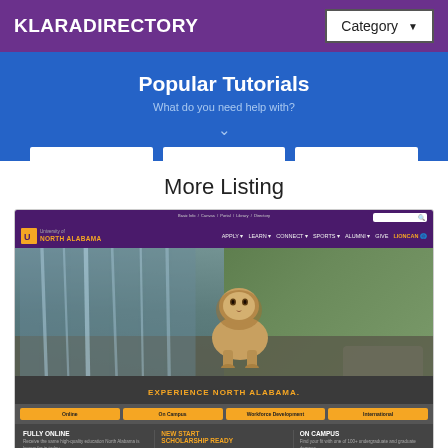KLARADIRECTORY
Popular Tutorials
What do you need help with?
More Listing
[Figure (screenshot): Screenshot of University of North Alabama website showing lion hero image, navigation bar with APPLY, LEARN, CONNECT, SPORTS, ALUMNI, GIVE, LIONCAN links, EXPERIENCE NORTH ALABAMA tagline, Online/On Campus/Workforce Development/International buttons, and footer sections for FULLY ONLINE, NEW START SCHOLARSHIP READY, and ON CAMPUS]